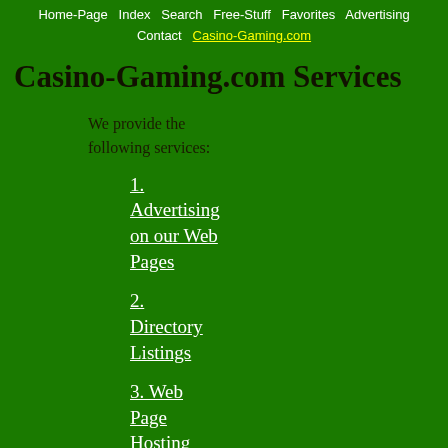Home-Page  Index  Search  Free-Stuff  Favorites  Advertising  Contact  Casino-Gaming.com
Casino-Gaming.com Services
We provide the following services:
1. Advertising on our Web Pages
2. Directory Listings
3. Web Page Hosting